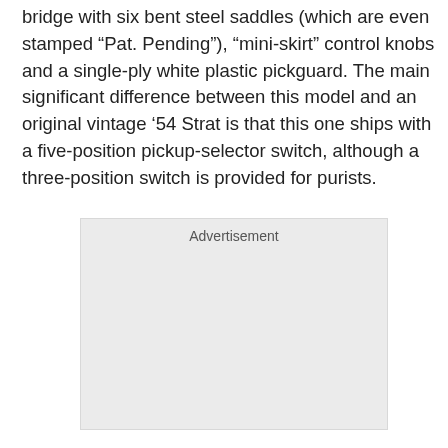bridge with six bent steel saddles (which are even stamped “Pat. Pending”), “mini-skirt” control knobs and a single-ply white plastic pickguard. The main significant difference between this model and an original vintage ’54 Strat is that this one ships with a five-position pickup-selector switch, although a three-position switch is provided for purists.
[Figure (other): Advertisement placeholder box with light gray background]